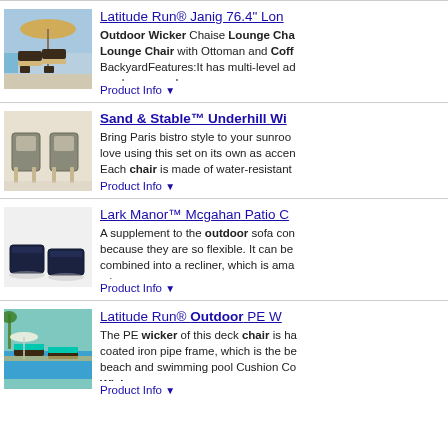[Figure (photo): Outdoor wicker chaise lounge chairs with umbrella by water]
Latitude Run® Janig 76.4" Lon... Outdoor Wicker Chaise Lounge Cha... Lounge Chair with Ottoman and Coff... BackyardFeatures:It has multi-level ad... can become a Lounger, ... more
Product Info ▼
[Figure (photo): Two wicker bistro chairs with natural frames]
Sand & Stable™ Underhill Wi... Bring Paris bistro style to your sunroo... love using this set on its own as accen... Each chair is made of water-resistant...
Product Info ▼
[Figure (photo): Two dark navy/black square outdoor ottomans]
Lark Manor™ Mcgahan Patio C... A supplement to the outdoor sofa con... because they are so flexible. It can be... combined into a recliner, which is ama... w/ ... more
Product Info ▼
[Figure (photo): Outdoor wicker lounge chairs with turquoise cushions by pool]
Latitude Run® Outdoor PE W... The PE wicker of this deck chair is ha... coated iron pipe frame, which is the be... beach and swimming pool Cushion Co... Wicker ... more
Product Info ▼